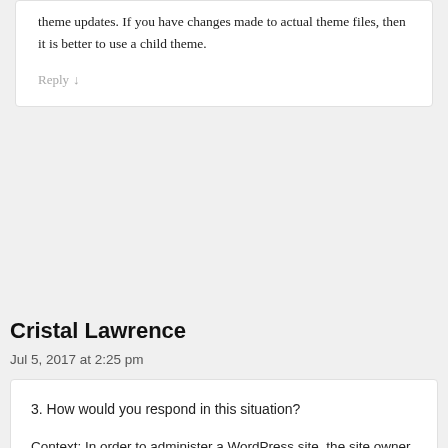theme updates. If you have changes made to actual theme files, then it is better to use a child theme.
Reply ↓
Cristal Lawrence
Jul 5, 2017 at 2:25 pm
3. How would you respond in this situation?
Context: In order to administer a WordPress site, the site owner must log in. When logged in, WordPress makes the log in button disappear. i.e log in is only visible for visitors